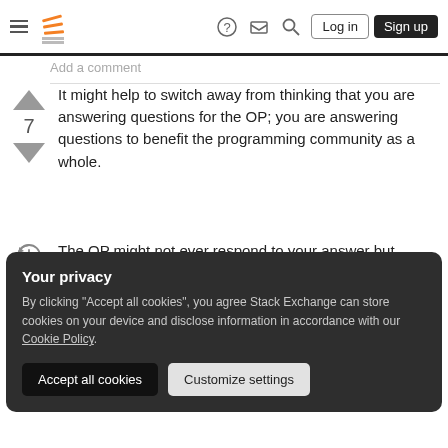Stack Exchange — Log in / Sign up navigation bar
Add a comment
It might help to switch away from thinking that you are answering questions for the OP; you are answering questions to benefit the programming community as a whole.
The OP might not ever respond to your answer but somewhere down the line, someone will search for the same question and find may find your answer useful and give you your late rewards.
Your privacy
By clicking "Accept all cookies", you agree Stack Exchange can store cookies on your device and disclose information in accordance with our Cookie Policy.
Accept all cookies
Customize settings